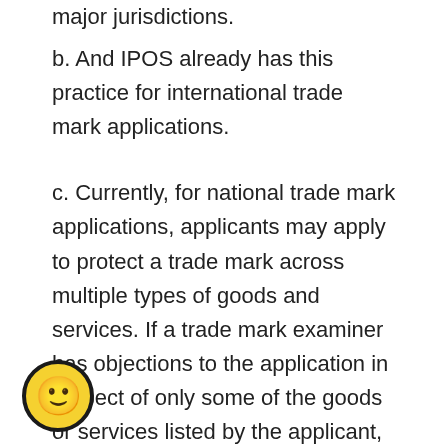major jurisdictions.
b. And IPOS already has this practice for international trade mark applications.
c. Currently, for national trade mark applications, applicants may apply to protect a trade mark across multiple types of goods and services. If a trade mark examiner has objections to the application in respect of only some of the goods or services listed by the applicant, these objections may hold up the entire application.